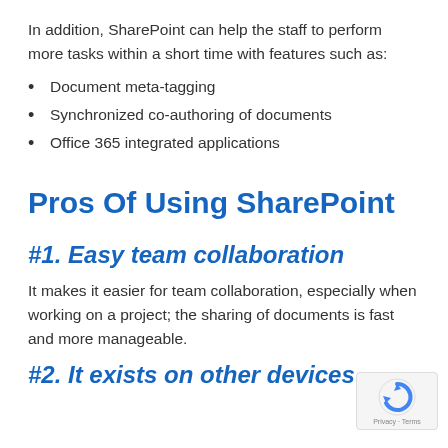In addition, SharePoint can help the staff to perform more tasks within a short time with features such as:
Document meta-tagging
Synchronized co-authoring of documents
Office 365 integrated applications
Pros Of Using SharePoint
#1. Easy team collaboration
It makes it easier for team collaboration, especially when working on a project; the sharing of documents is fast and more manageable.
#2. It exists on other devices